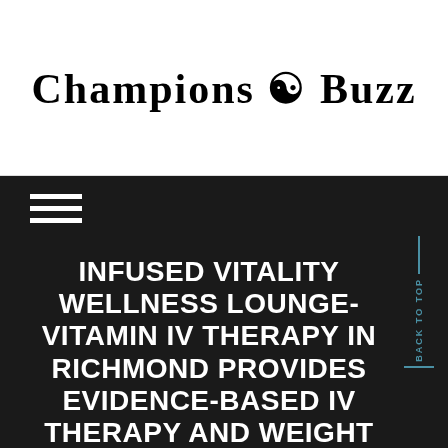Champions ☯ Buzz
[Figure (logo): Champions Buzz logo in blackletter/Old English gothic font with yin-yang symbol between the two words]
INFUSED VITALITY WELLNESS LOUNGE- VITAMIN IV THERAPY IN RICHMOND PROVIDES EVIDENCE-BASED IV THERAPY AND WEIGHT LOSS PROGRAMS